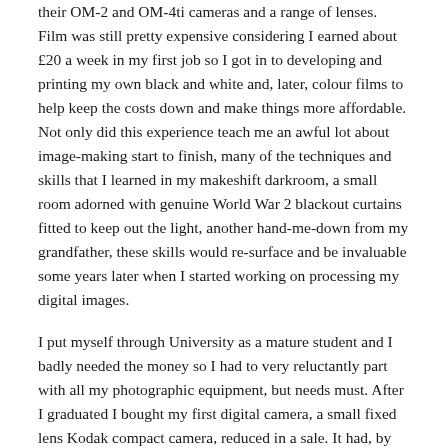their OM-2 and OM-4ti cameras and a range of lenses. Film was still pretty expensive considering I earned about £20 a week in my first job so I got in to developing and printing my own black and white and, later, colour films to help keep the costs down and make things more affordable. Not only did this experience teach me an awful lot about image-making start to finish, many of the techniques and skills that I learned in my makeshift darkroom, a small room adorned with genuine World War 2 blackout curtains fitted to keep out the light, another hand-me-down from my grandfather, these skills would re-surface and be invaluable some years later when I started working on processing my digital images.
I put myself through University as a mature student and I badly needed the money so I had to very reluctantly part with all my photographic equipment, but needs must. After I graduated I bought my first digital camera, a small fixed lens Kodak compact camera, reduced in a sale. It had, by today's standards, a laughably small maximum image resolution of 640×480 pixels or, to put it another way, a stunning 0.4 Megapixels!. For all of this and further equipped with screw on wide angle and telephoto lens attachments, it proved to be a fabulous little camera